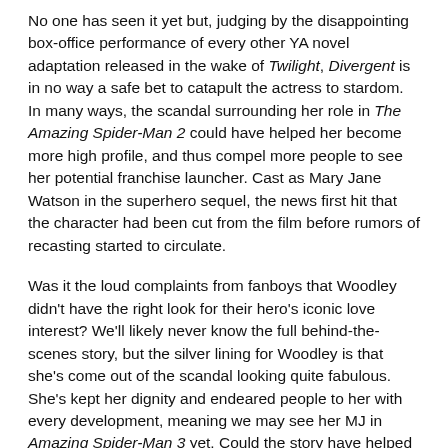No one has seen it yet but, judging by the disappointing box-office performance of every other YA novel adaptation released in the wake of Twilight, Divergent is in no way a safe bet to catapult the actress to stardom. In many ways, the scandal surrounding her role in The Amazing Spider-Man 2 could have helped her become more high profile, and thus compel more people to see her potential franchise launcher. Cast as Mary Jane Watson in the superhero sequel, the news first hit that the character had been cut from the film before rumors of recasting started to circulate.
Was it the loud complaints from fanboys that Woodley didn't have the right look for their hero's iconic love interest? We'll likely never know the full behind-the-scenes story, but the silver lining for Woodley is that she's come out of the scandal looking quite fabulous. She's kept her dignity and endeared people to her with every development, meaning we may see her MJ in Amazing Spider-Man 3 yet. Could the story have helped Divergent become a bigger hit? In some ways, I hope it doesn't.
Whether she is, indeed, the 'next big thing' depends on the